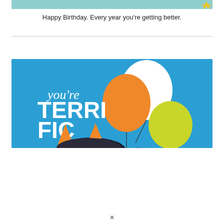[Figure (illustration): Teal/cyan colored banner strip at the top with a small gold star icon on the right side]
Happy Birthday. Every year you're getting better.
[Figure (illustration): Birthday card illustration on a blue background with the text 'you're TERRIFIC' in white, featuring three balloons (orange, white, yellow-green) and the bottom of a furry monster character with orange horns and dark feathers]